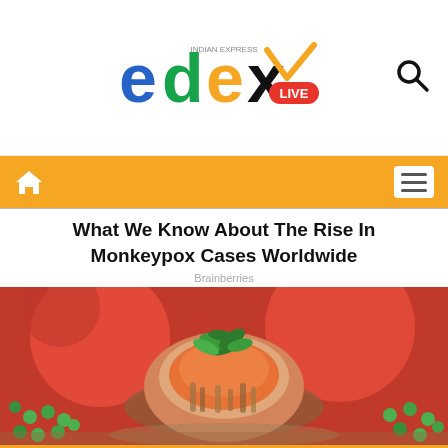edex LIVE - Indian Express
What We Know About The Rise In Monkeypox Cases Worldwide
Brainberries
[Figure (photo): Close-up photo of a food dish resembling a molded jelly or aspic with vegetables including tomatoes and green herbs, served on a plate with green peas]
We use cookies to enhance your experience. By continuing to visit our site you agree to our use of cookies. More info